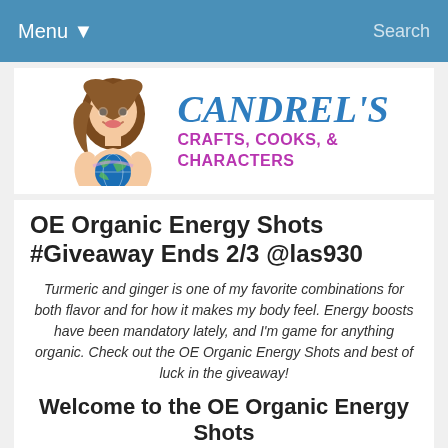Menu ▾   Search
[Figure (logo): Candrel's Crafts, Cooks, & Characters blog logo — cartoon woman holding a globe next to stylized text]
OE Organic Energy Shots #Giveaway Ends 2/3 @las930
Turmeric and ginger is one of my favorite combinations for both flavor and for how it makes my body feel. Energy boosts have been mandatory lately, and I'm game for anything organic. Check out the OE Organic Energy Shots and best of luck in the giveaway!
Welcome to the OE Organic Energy Shots
Giveaway!